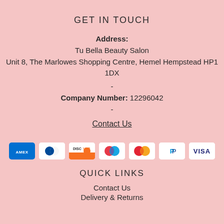GET IN TOUCH
Address:
Tu Bella Beauty Salon
Unit 8, The Marlowes Shopping Centre, Hemel Hempstead HP1 1DX
-
Company Number: 12296042
-
Contact Us
[Figure (other): Payment icons: American Express, Diners Club, Discover, Maestro, Mastercard, PayPal, Visa]
QUICK LINKS
Contact Us
Delivery & Returns